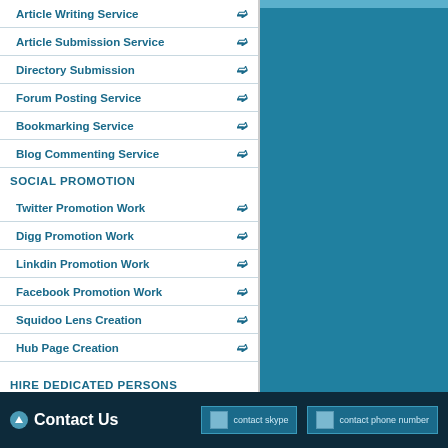Article Writing Service
Article Submission Service
Directory Submission
Forum Posting Service
Bookmarking Service
Blog Commenting Service
SOCIAL PROMOTION
Twitter Promotion Work
Digg Promotion Work
Linkdin Promotion Work
Facebook Promotion Work
Squidoo Lens Creation
Hub Page Creation
HIRE DEDICATED PERSONS
SEO
Web Designer
Web Developer
Contact Us